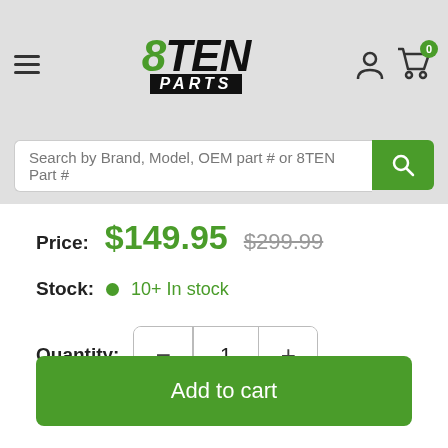[Figure (logo): 8TEN Parts logo with green 8 and black TEN text, black PARTS banner below]
Search by Brand, Model, OEM part # or 8TEN Part #
Price: $149.95  $299.99
Stock: 10+ In stock
Quantity: 1
Add to cart